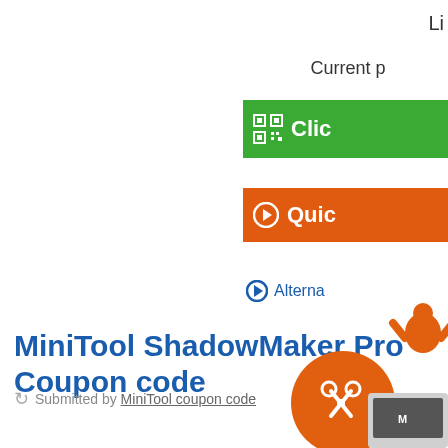Li
Current p
Clic
Quic
Alterna
MiniTool ShadowMaker Pro Coupon code
Submitted by MiniTool coupon code
[Figure (illustration): Orange coupon/scissors icon with MiniTool branding, partially visible at bottom right]